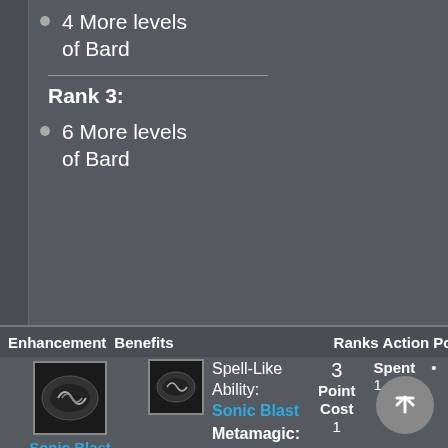4 More levels of Bard
Rank 3:
6 More levels of Bard
| Enhancement | Benefits | Ranks | Action | Points | Requ |
| --- | --- | --- | --- | --- | --- |
| Sonic Blast | Spell-Like Ability: Sonic Blast Metamagic: Embolden, Empower, Heighten, Intensify, Maximize, Quicken | 3 | Point Cost 1 | Spent 1 | • |
Blasts an